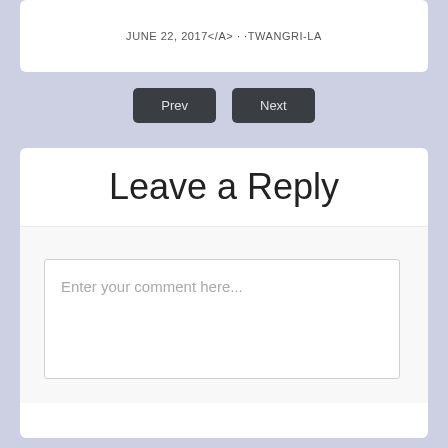JUNE 22, 2017</A> · ·TWANGRI-LA
Prev
Next
Leave a Reply
Enter your comment here...